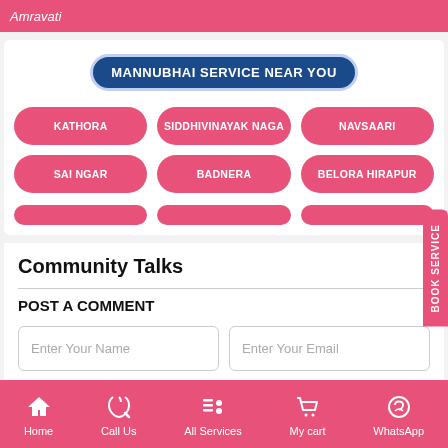Amravati
MANNUBHAI SERVICE NEAR YOU
KATHORA
SIDDHIVINAYAK NAGA
NAVSAARI
SAI NGAR
BADNERA
BELORA HIRAPUR
Community Talks
POST A COMMENT
Enter Your Name
Enter Your Email
Home   Call Us   All Services   My cart   WhatsApp